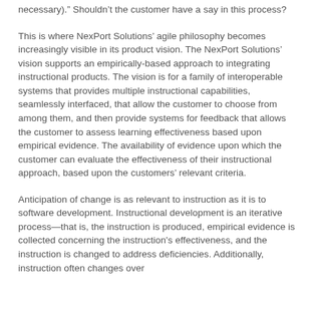necessary).”  Shouldn’t the customer have a say in this process?
This is where NexPort Solutions’ agile philosophy becomes increasingly visible in its product vision.  The NexPort Solutions’ vision supports an empirically-based approach to integrating instructional products.  The vision is for a family of interoperable systems that provides multiple instructional capabilities, seamlessly interfaced, that allow the customer to choose from among them, and then provide systems for feedback that allows the customer to assess learning effectiveness based upon empirical evidence.  The availability of evidence upon which the customer can evaluate the effectiveness of their instructional approach, based upon the customers’ relevant criteria.
Anticipation of change is as relevant to instruction as it is to software development.  Instructional development is an iterative process—that is, the instruction is produced, empirical evidence is collected concerning the instruction's effectiveness, and the instruction is changed to address deficiencies.  Additionally, instruction often changes over